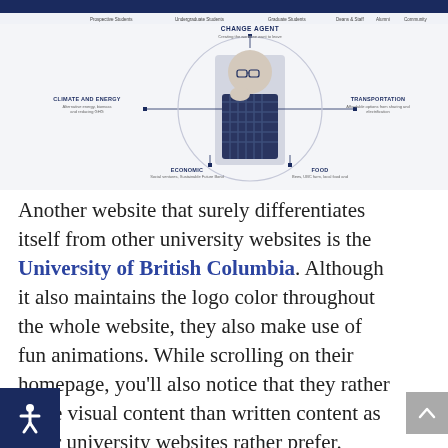[Figure (screenshot): Screenshot of a university website (likely UBC) showing a navigation bar at top, a circular infographic with a person in the center labeled 'Change Agent', surrounded by topic labels: Climate and Energy (left), Transportation (right), Economic (bottom-left), Food (bottom-right).]
Another website that surely differentiates itself from other university websites is the University of British Columbia. Although it also maintains the logo color throughout the whole website, they also make use of fun animations. While scrolling on their homepage, you'll also notice that they rather share visual content than written content as other university websites rather prefer.